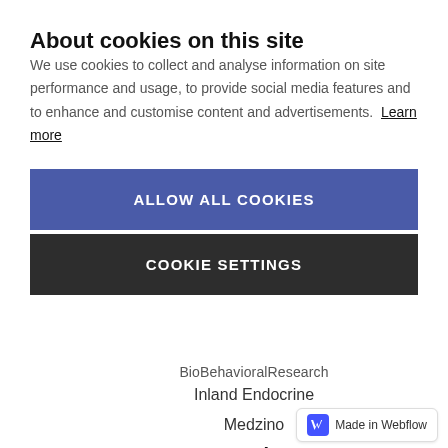About cookies on this site
We use cookies to collect and analyse information on site performance and usage, to provide social media features and to enhance and customise content and advertisements. Learn more
ALLOW ALL COOKIES
COOKIE SETTINGS
BioBehavioralResearch
Inland Endocrine
Medzino
Login
Telehealth Platform
eConsult2U Platform